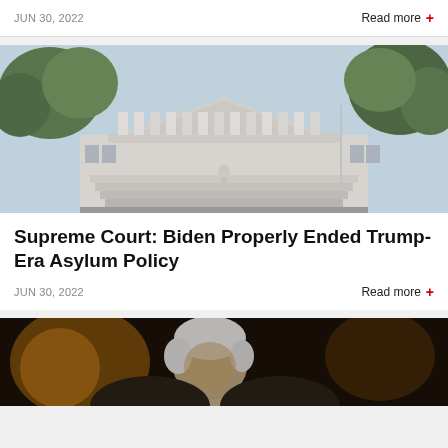JUN 30, 2022
Read more +
[Figure (photo): Exterior of the US Supreme Court building with columns and steps, trees visible on both sides]
Supreme Court: Biden Properly Ended Trump-Era Asylum Policy
JUN 30, 2022
Read more +
[Figure (photo): Close-up portrait of an elderly white-haired man in dim warm lighting, visible from the shoulders up]